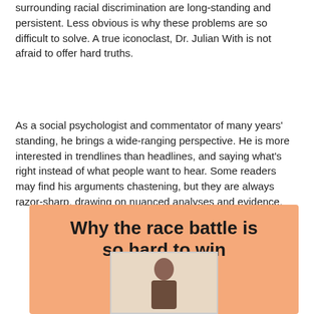surrounding racial discrimination are long-standing and persistent. Less obvious is why these problems are so difficult to solve. A true iconoclast, Dr. Julian With is not afraid to offer hard truths.
As a social psychologist and commentator of many years' standing, he brings a wide-ranging perspective. He is more interested in trendlines than headlines, and saying what's right instead of what people want to hear. Some readers may find his arguments chastening, but they are always razor-sharp, drawing on nuanced analyses and evidence.
[Figure (illustration): Book cover with peach/salmon background color showing the title 'Why the race battle is so hard to win' in large bold black text, with a partial image of a person at the bottom.]